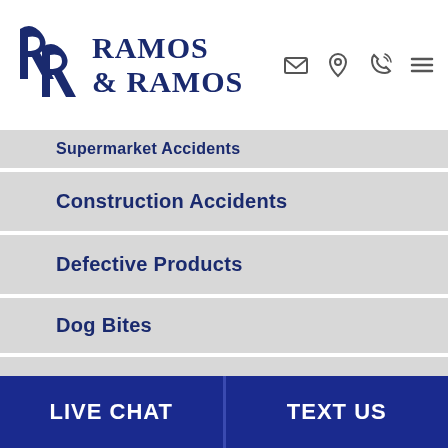Ramos & Ramos
Supermarket Accidents
Construction Accidents
Defective Products
Dog Bites
Medical Malpractice
Wrongful Death
LIVE CHAT   TEXT US